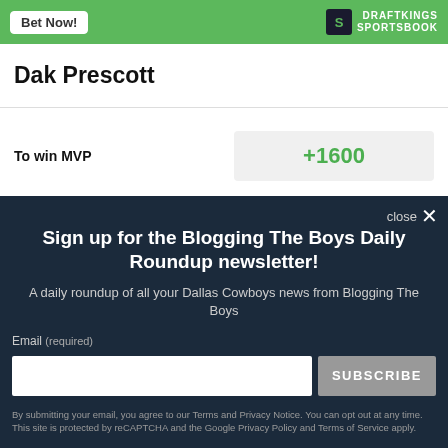[Figure (screenshot): DraftKings Sportsbook betting widget header with green background, 'Bet Now!' button and DraftKings logo]
Dak Prescott
| Bet Type | Odds |
| --- | --- |
| To win MVP | +1600 |
| To win Offensive Player of | +4000 |
Sign up for the Blogging The Boys Daily Roundup newsletter!
A daily roundup of all your Dallas Cowboys news from Blogging The Boys
Email (required)
By submitting your email, you agree to our Terms and Privacy Notice. You can opt out at any time. This site is protected by reCAPTCHA and the Google Privacy Policy and Terms of Service apply.